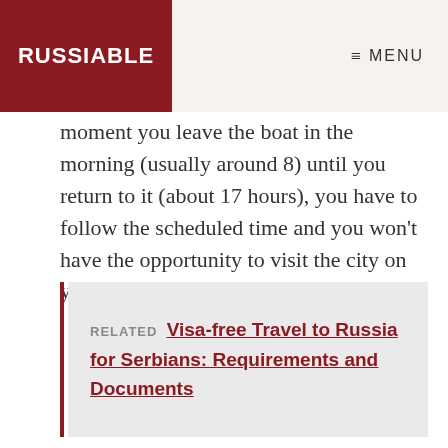RUSSIABLE   ≡ MENU
moment you leave the boat in the morning (usually around 8) until you return to it (about 17 hours), you have to follow the scheduled time and you won't have the opportunity to visit the city on your own.
RELATED  Visa-free Travel to Russia for Serbians: Requirements and Documents